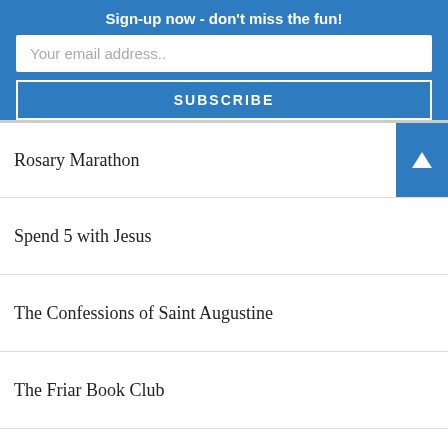Sign-up now - don't miss the fun!
Your email address..
SUBSCRIBE
Rosary Marathon
Spend 5 with Jesus
The Confessions of Saint Augustine
The Friar Book Club
The Friar Book Club
The Reed of God
Today's Prayer